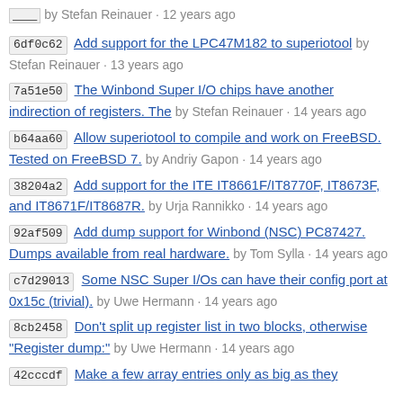6df0c62 Add support for the LPC47M182 to superiotool by Stefan Reinauer · 13 years ago
7a51e50 The Winbond Super I/O chips have another indirection of registers. The by Stefan Reinauer · 14 years ago
b64aa60 Allow superiotool to compile and work on FreeBSD. Tested on FreeBSD 7. by Andriy Gapon · 14 years ago
38204a2 Add support for the ITE IT8661F/IT8770F, IT8673F, and IT8671F/IT8687R. by Urja Rannikko · 14 years ago
92af509 Add dump support for Winbond (NSC) PC87427. Dumps available from real hardware. by Tom Sylla · 14 years ago
c7d29013 Some NSC Super I/Os can have their config port at 0x15c (trivial). by Uwe Hermann · 14 years ago
8cb2458 Don't split up register list in two blocks, otherwise "Register dump:" by Uwe Hermann · 14 years ago
42cccdf Make a few array entries only as big as they